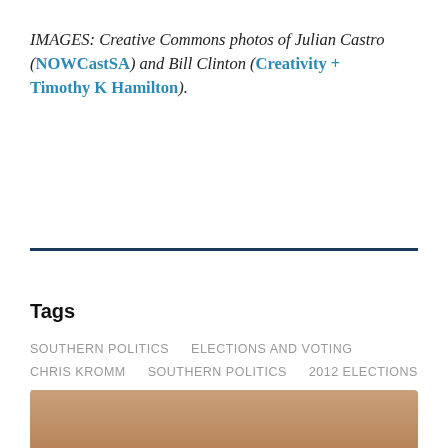IMAGES: Creative Commons photos of Julian Castro (NOWCastSA) and Bill Clinton (Creativity + Timothy K Hamilton).
Tags
SOUTHERN POLITICS    ELECTIONS AND VOTING
CHRIS KROMM    SOUTHERN POLITICS    2012 ELECTIONS
BARACK OBAMA    BILL CLINTON    MITT ROMNEY
DEMOCRATIC NATIONAL CONVENTION    DNC
WOMEN VOTERS    BLACK VOTERS    LATINO VOTERS
[Figure (photo): Partial photo strip visible at bottom of page, showing a person's face/skin tones in warm brown colors.]